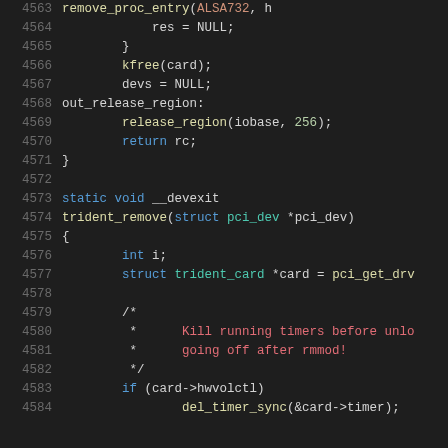[Figure (screenshot): Source code snippet in a dark-themed code editor showing C code lines 4563-4584, with syntax highlighting. Lines show a function end with kfree, devs=NULL, out_release_region label, release_region call, return rc, closing brace, then static void __devexit trident_remove function definition with struct declarations and a comment block about killing running timers before rmmod.]